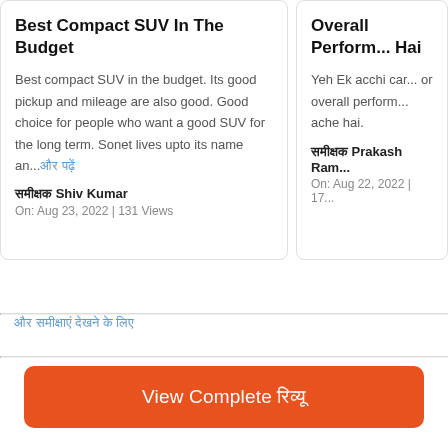Best Compact SUV In The Budget
Best compact SUV in the budget. Its good pickup and mileage are also good. Good choice for people who want a good SUV for the long term. Sonet lives upto its name an...
समीक्षक Shiv Kumar
On: Aug 23, 2022 | 131 Views
Overall Perform... Hai
Yeh Ek acchi car... or overall perform... ache hai.
समीक्षक Prakash Ram...
On: Aug 22, 2022 | 17...
और समीक्षाएं देखें यहाँ
View Complete रिव्यू